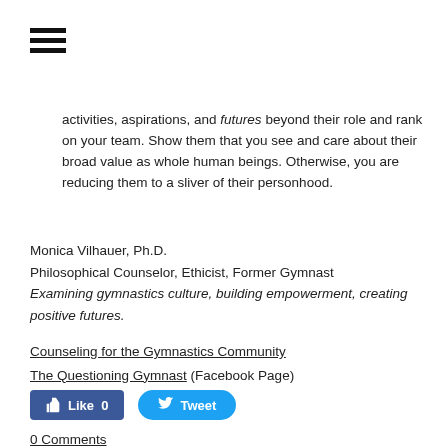[Figure (other): Hamburger menu icon (three horizontal bars)]
activities, aspirations, and futures beyond their role and rank on your team. Show them that you see and care about their broad value as whole human beings. Otherwise, you are reducing them to a sliver of their personhood.
Monica Vilhauer, Ph.D.
Philosophical Counselor, Ethicist, Former Gymnast
Examining gymnastics culture, building empowerment, creating positive futures.
Counseling for the Gymnastics Community
The Questioning Gymnast (Facebook Page)
[Figure (other): Social sharing buttons: Like 0 (Facebook) and Tweet (Twitter)]
0 Comments